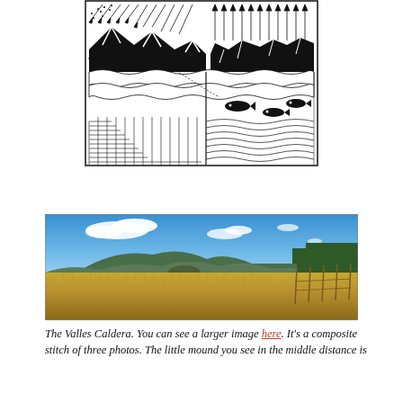[Figure (illustration): Black and white technical illustration showing a cross-section of a volcanic caldera system with arrows indicating water/steam flow directions, mountains, water body with fish, and vegetation patterns]
[Figure (photo): Panoramic photograph of the Valles Caldera showing open grassland meadow in the foreground, a small mound in the middle distance, forested hills, and blue sky with white clouds]
The Valles Caldera. You can see a larger image here. It's a composite stitch of three photos. The little mound you see in the middle distance is